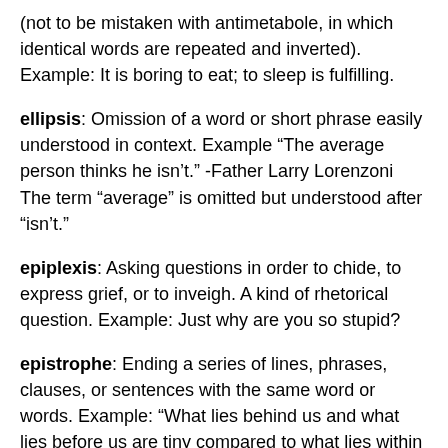(not to be mistaken with antimetabole, in which identical words are repeated and inverted). Example: It is boring to eat; to sleep is fulfilling.
ellipsis: Omission of a word or short phrase easily understood in context. Example “The average person thinks he isn’t.” -Father Larry Lorenzoni The term “average” is omitted but understood after “isn’t.”
epiplexis: Asking questions in order to chide, to express grief, or to inveigh. A kind of rhetorical question. Example: Just why are you so stupid?
epistrophe: Ending a series of lines, phrases, clauses, or sentences with the same word or words. Example: “What lies behind us and what lies before us are tiny compared to what lies within us.” —Emerson
eroteme: The rhetorical question. To affirm or deny a...